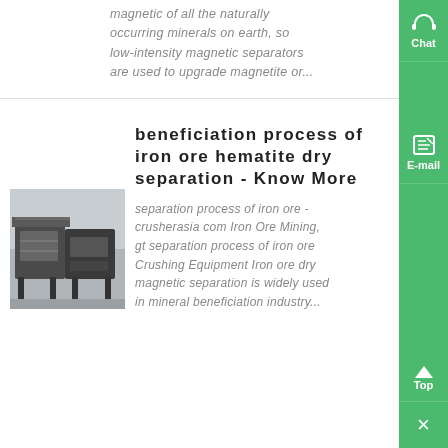magnetic of all the naturally occurring minerals on earth, so low-intensity magnetic separators are used to upgrade magnetite or...
beneficiation process of iron ore hematite dry separation - Know More
[Figure (photo): Industrial vibrating/screening machine equipment in a warehouse or factory setting]
separation process of iron ore - crusherasia com Iron Ore Mining, gt separation process of iron ore Crushing Equipment Iron ore dry magnetic separation is widely used in mineral beneficiation industry...